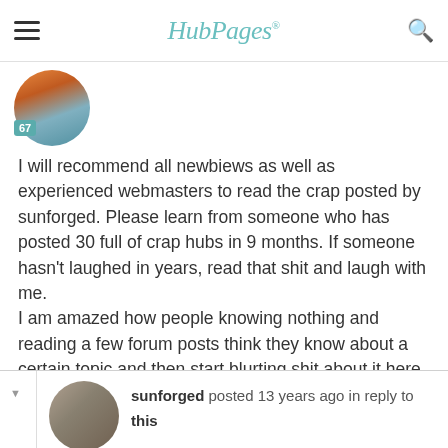HubPages
[Figure (photo): User avatar showing a sunset over water, with a teal badge showing '67']
I will recommend all newbiews as well as experienced webmasters to read the crap posted by sunforged. Please learn from someone who has posted 30 full of crap hubs in 9 months. If someone hasn't laughed in years, read that shit and laugh with me.
I am amazed how people knowing nothing and reading a few forum posts think they know about a certain topic and then start blurting shit about it here and there.
reply   report
[Figure (photo): User avatar for sunforged showing a person]
sunforged posted 13 years ago in reply to this